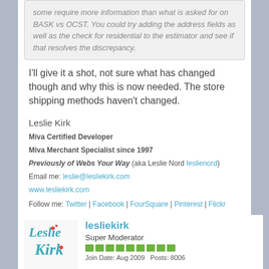some require more information than what is asked for on BASK vs OCST. You could try adding the address fields as well as the check for residential to the estimator and see if that resolves the discrepancy.
I'll give it a shot, not sure what has changed though and why this is now needed. The store shipping methods haven't changed.
Leslie Kirk
Miva Certified Developer
Miva Merchant Specialist since 1997
Previously of Webs Your Way (aka Leslie Nord leslienord)
Email me: leslie@lesliekirk.com
www.lesliekirk.com
Follow me: Twitter | Facebook | FourSquare | Pinterest | Flickr
[Figure (logo): Leslie Kirk logo — stylized text in teal/blue colors]
lesliekirk
Super Moderator
Join Date: Aug 2009   Posts: 8006